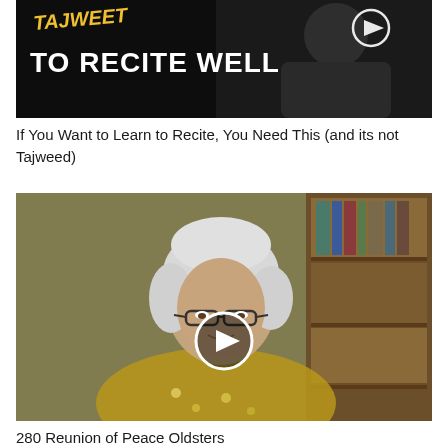[Figure (screenshot): Video thumbnail with dark/black background showing a bearded man in a grey shirt. Yellow and white handwritten-style text reads 'TAJWEET' (partially cropped) and large white bold text reads 'TO RECITE WELL'. A white circular play button icon is visible in the upper right area.]
If You Want to Learn to Recite, You Need This (and its not Tajweed)
[Figure (screenshot): Video thumbnail showing an elderly woman with white/grey hair and glasses wearing a floral yellow blouse, seated in front of a bookcase. A white circular play button icon is centered on the image.]
280 Reunion of Peace Oldsters